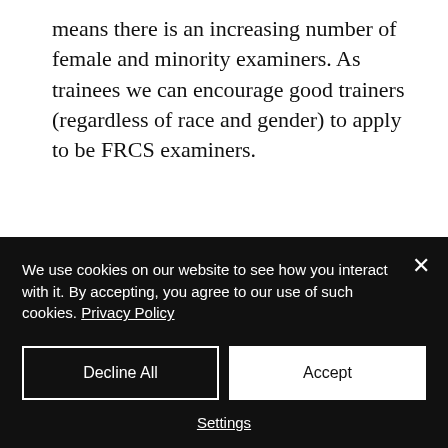means there is an increasing number of female and minority examiners. As trainees we can encourage good trainers (regardless of race and gender) to apply to be FRCS examiners.
Collusion
Recently there was an instance of collusion between candidates.
We use cookies on our website to see how you interact with it. By accepting, you agree to our use of such cookies. Privacy Policy